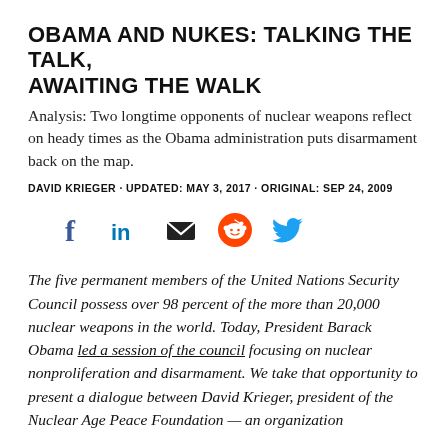OBAMA AND NUKES: TALKING THE TALK, AWAITING THE WALK
Analysis: Two longtime opponents of nuclear weapons reflect on heady times as the Obama administration puts disarmament back on the map.
DAVID KRIEGER · UPDATED: MAY 3, 2017 · ORIGINAL: SEP 24, 2009
[Figure (infographic): Social media share icons: Facebook (f), LinkedIn (in), Email (envelope), Reddit (alien), Twitter (bird)]
The five permanent members of the United Nations Security Council possess over 98 percent of the more than 20,000 nuclear weapons in the world. Today, President Barack Obama led a session of the council focusing on nuclear nonproliferation and disarmament. We take that opportunity to present a dialogue between David Krieger, president of the Nuclear Age Peace Foundation — an organization